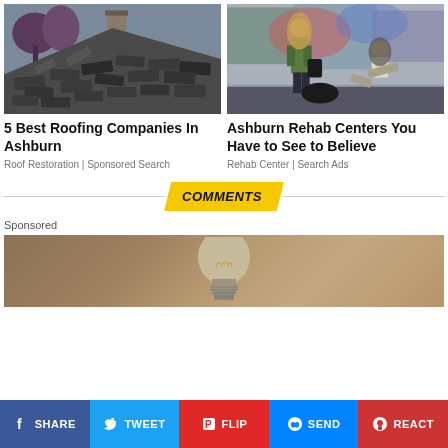[Figure (photo): Damaged roofing shingles on a house roof]
[Figure (photo): Two young women standing in front of graffiti wall]
5 Best Roofing Companies In Ashburn
Roof Restoration | Sponsored Search
Ashburn Rehab Centers You Have to See to Believe
Rehab Center | Search Ads
COMMENTS
Sponsored
[Figure (photo): Close-up of a light bulb against brown background]